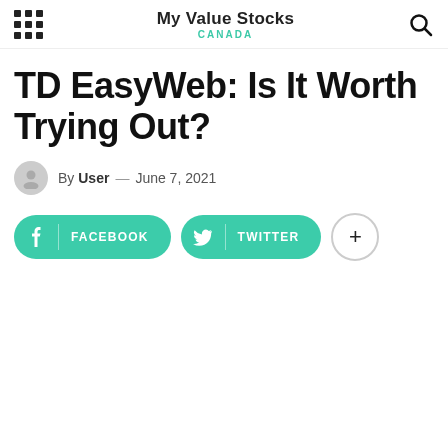My Value Stocks CANADA
TD EasyWeb: Is It Worth Trying Out?
By User — June 7, 2021